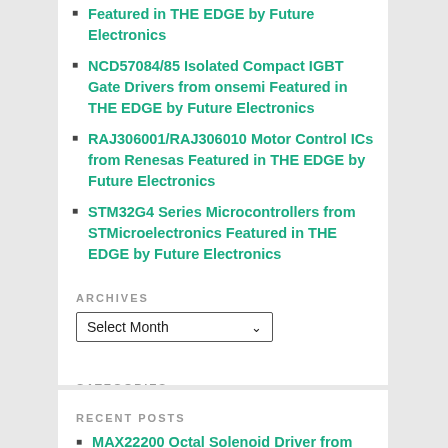Featured in THE EDGE by Future Electronics
NCD57084/85 Isolated Compact IGBT Gate Drivers from onsemi Featured in THE EDGE by Future Electronics
RAJ306001/RAJ306010 Motor Control ICs from Renesas Featured in THE EDGE by Future Electronics
STM32G4 Series Microcontrollers from STMicroelectronics Featured in THE EDGE by Future Electronics
ARCHIVES
[Figure (screenshot): Dropdown selector labelled 'Select Month' with a down chevron]
CATEGORIES
[Figure (screenshot): Dropdown selector labelled 'Select Category' with a down chevron]
RECENT POSTS
MAX22200 Octal Solenoid Driver from Maxim Integrated Featured in THE EDGE by Future